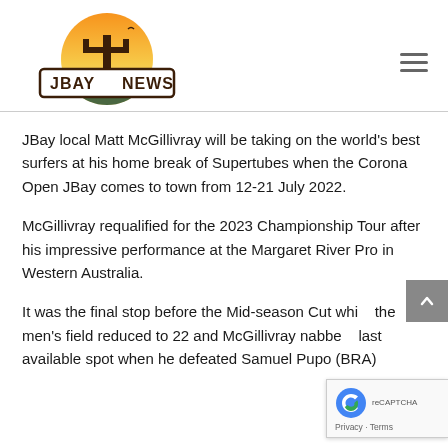[Figure (logo): JBay News logo with cactus and sunset design]
JBay local Matt McGillivray will be taking on the world's best surfers at his home break of Supertubes when the Corona Open JBay comes to town from 12-21 July 2022.
McGillivray requalified for the 2023 Championship Tour after his impressive performance at the Margaret River Pro in Western Australia.
It was the final stop before the Mid-season Cut whi... the men's field reduced to 22 and McGillivray nabbe... last available spot when he defeated Samuel Pupo (BRA)